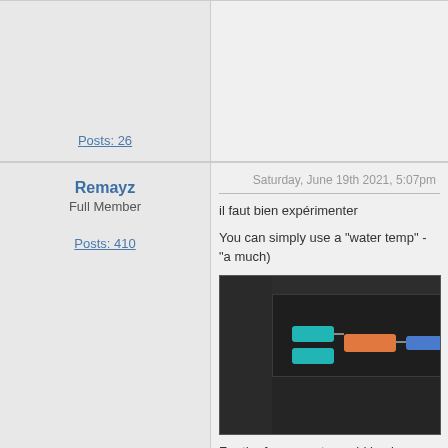Posts: 26
Remayz
Full Member
Posts: 410
Saturday, June 19th 2021, 5:07pm
il faut bien expérimenter
You can simply use a "water temp" - "a much)
[Figure (screenshot): Screenshot of a node-based software editor (fan curve software) with a dark interface showing cyan, orange, and blue nodes connected together.]
For the fan curve to avoid having your t tweak the base, and maximum speed c